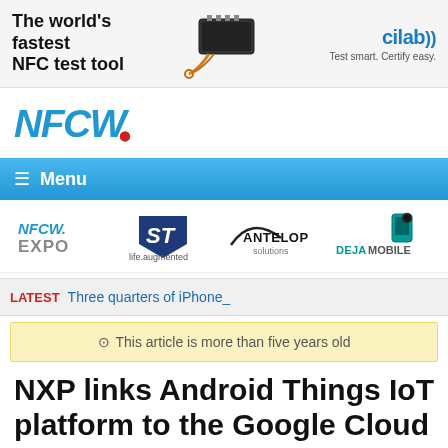[Figure (photo): Advertisement banner: The world's fastest NFC test tool — cilab logo and NFC device image. Test smart. Certify easy.]
[Figure (logo): NFCW. logo in blue with red dot]
≡ Menu
[Figure (logo): Sponsor logos: NFCW EXPO, ST (life.augmented), ANTELOP solutions, DEJAMOBILE]
LATEST Three quarters of iPhone_
⊙ This article is more than five years old
NXP links Android Things IoT platform to the Google Cloud